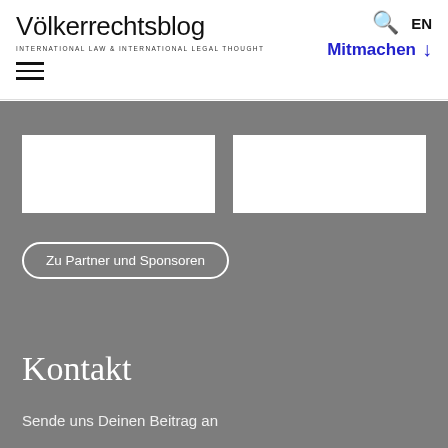Völkerrechtsblog – INTERNATIONAL LAW & INTERNATIONAL LEGAL THOUGHT
Search | EN
Mitmachen ↓
[Figure (other): Two white image/logo placeholder boxes on gray background]
Zu Partner und Sponsoren
Kontakt
Sende uns Deinen Beitrag an